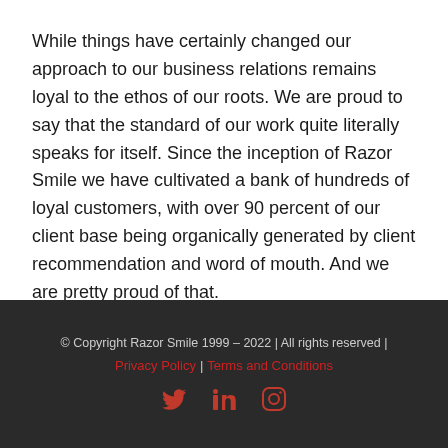While things have certainly changed our approach to our business relations remains loyal to the ethos of our roots. We are proud to say that the standard of our work quite literally speaks for itself. Since the inception of Razor Smile we have cultivated a bank of hundreds of loyal customers, with over 90 percent of our client base being organically generated by client recommendation and word of mouth. And we are pretty proud of that.
Get a quote
© Copyright Razor Smile 1999 – 2022 | All rights reserved | Privacy Policy | Terms and Conditions